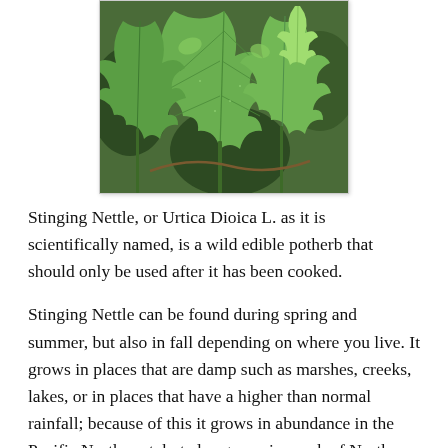[Figure (photo): Close-up photograph of stinging nettle (Urtica dioica) plants showing serrated green leaves with fine hairs, surrounded by other foliage in a natural setting.]
Stinging Nettle, or Urtica Dioica L. as it is scientifically named, is a wild edible potherb that should only be used after it has been cooked.
Stinging Nettle can be found during spring and summer, but also in fall depending on where you live. It grows in places that are damp such as marshes, creeks, lakes, or in places that have a higher than normal rainfall; because of this it grows in abundance in the Pacific Northwest, but also grows in much of North America.